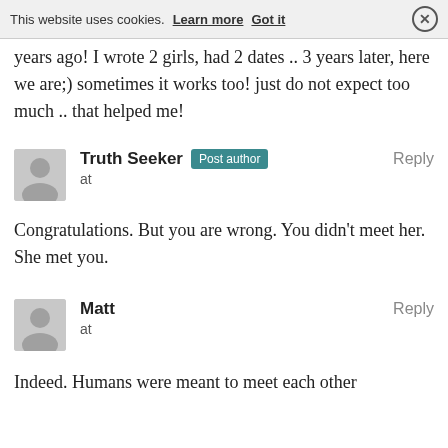This website uses cookies. Learn more  Got it  ×
years ago! I wrote 2 girls, had 2 dates .. 3 years later, here we are;) sometimes it works too! just do not expect too much .. that helped me!
Truth Seeker  Post author  Reply
at
Congratulations. But you are wrong. You didn't meet her. She met you.
Matt  Reply
at
Indeed. Humans were meant to meet each other